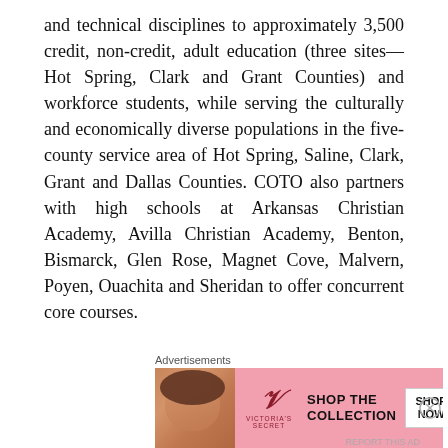and technical disciplines to approximately 3,500 credit, non-credit, adult education (three sites—Hot Spring, Clark and Grant Counties) and workforce students, while serving the culturally and economically diverse populations in the five-county service area of Hot Spring, Saline, Clark, Grant and Dallas Counties. COTO also partners with high schools at Arkansas Christian Academy, Avilla Christian Academy, Benton, Bismarck, Glen Rose, Magnet Cove, Malvern, Poyen, Ouachita and Sheridan to offer concurrent core courses.
Additionally, COTO will staff the new 120,000-square-foot Saline County Career and Technical Education Center that will be funded by a recently approved county sales tax and open by 2021 to serve some 500 students.
The ASU System, based in Little Rock, serves more than 23,000 students throughout Arkansas, and includes Arkansas
[Figure (infographic): Victoria's Secret advertisement banner with a model photo on the left, VS logo in center-left, 'SHOP THE COLLECTION' text in center, and 'SHOP NOW' button on right, on a pink background. Labeled 'Advertisements' above.]